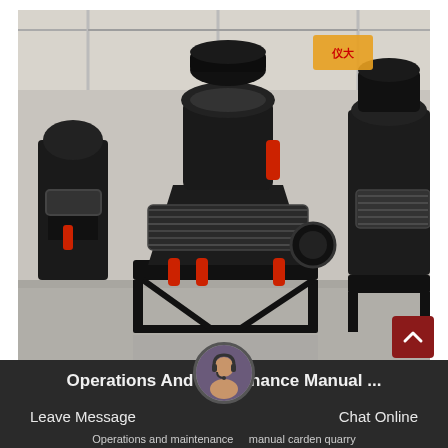[Figure (photo): Industrial photo showing multiple large black spring cone crushers lined up in a factory/warehouse setting. Machines sit on black steel frames, have red hydraulic cylinders at the base, and visible coil springs around the body. Background shows industrial building structure.]
Operations And Maintenance Manual ...
Leave Message
Chat Online
Operations and maintenance manual carden quarry